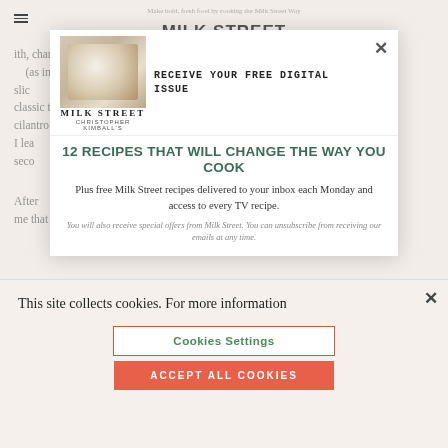[Figure (screenshot): Background article text from Milk Street website partially visible behind modal overlays]
[Figure (screenshot): Newsletter signup modal for Milk Street magazine with logo, headline '12 RECIPES THAT WILL CHANGE THE WAY YOU COOK', subtext about free recipes, and fine print about email offers]
RECEIVE YOUR FREE DIGITAL ISSUE
12 RECIPES THAT WILL CHANGE THE WAY YOU COOK
Plus free Milk Street recipes delivered to your inbox each Monday and access to every TV recipe.
You will also receive special offers from Milk Street. You can unsubscribe from receiving our emails at any time.
This site collects cookies. For more information
Cookies Settings
ACCEPT ALL COOKIES